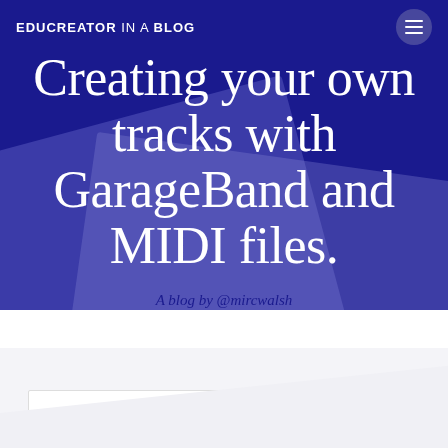EDUCREATOR IN A BLOG
Creating your own tracks with GarageBand and MIDI files.
A blog by @mircwalsh